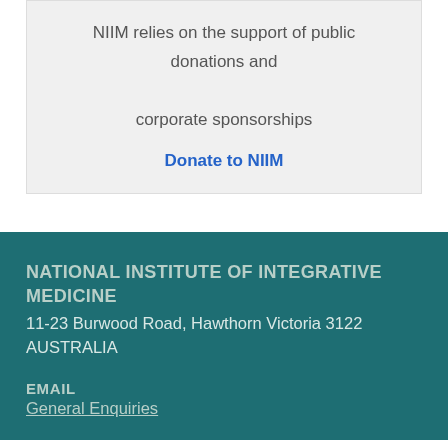NIIM relies on the support of public donations and corporate sponsorships
Donate to NIIM
NATIONAL INSTITUTE OF INTEGRATIVE MEDICINE
11-23 Burwood Road, Hawthorn Victoria 3122
AUSTRALIA
EMAIL
General Enquiries